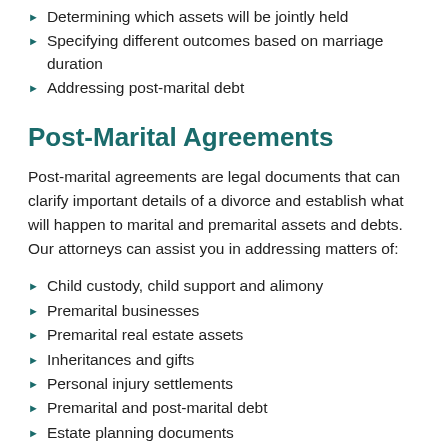Determining which assets will be jointly held
Specifying different outcomes based on marriage duration
Addressing post-marital debt
Post-Marital Agreements
Post-marital agreements are legal documents that can clarify important details of a divorce and establish what will happen to marital and premarital assets and debts. Our attorneys can assist you in addressing matters of:
Child custody, child support and alimony
Premarital businesses
Premarital real estate assets
Inheritances and gifts
Personal injury settlements
Premarital and post-marital debt
Estate planning documents
Contact A Denver Prenuptial Agreement